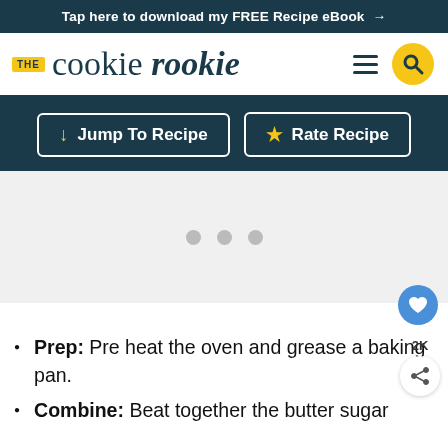Tap here to download my FREE Recipe eBook →
[Figure (logo): The Cookie Rookie logo with hamburger menu and search button]
Jump To Recipe | Rate Recipe
[Figure (other): Advertisement placeholder with three dots]
Prep: Pre heat the oven and grease a baking pan.
Combine: Beat together the butter sugar